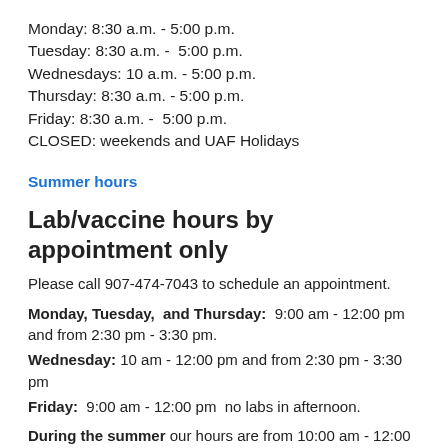Monday: 8:30 a.m. - 5:00 p.m.
Tuesday: 8:30 a.m. -  5:00 p.m.
Wednesdays: 10 a.m. - 5:00 p.m.
Thursday: 8:30 a.m. - 5:00 p.m.
Friday: 8:30 a.m. -  5:00 p.m.
CLOSED: weekends and UAF Holidays
Summer hours
Lab/vaccine hours by appointment only
Please call 907-474-7043 to schedule an appointment.
Monday, Tuesday,  and Thursday:  9:00 am - 12:00 pm  and from 2:30 pm - 3:30 pm.
Wednesday: 10 am - 12:00 pm and from 2:30 pm - 3:30 pm
Friday:  9:00 am - 12:00 pm  no labs in afternoon.
During the summer our hours are from 10:00 am - 12:00 pm